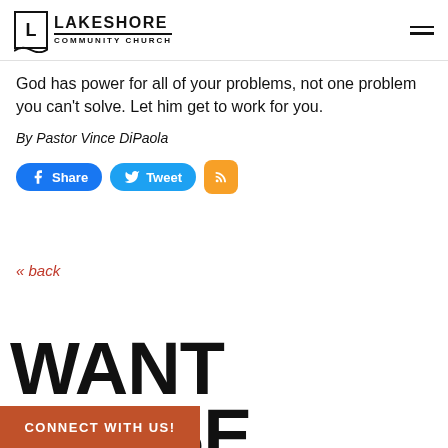LAKESHORE COMMUNITY CHURCH
God has power for all of your problems, not one problem you can't solve. Let him get to work for you.
By Pastor Vince DiPaola
[Figure (other): Social share buttons: Facebook Share, Twitter Tweet, RSS feed icon]
« back
WANT THESE
[Figure (other): Orange banner at bottom left reading CONNECT WITH US!]